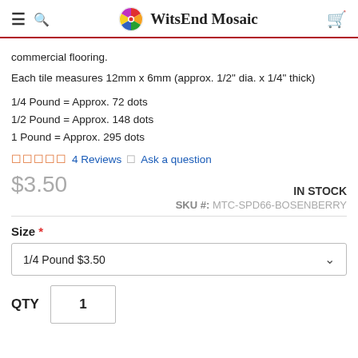WitsEnd Mosaic
commercial flooring.
Each tile measures 12mm x 6mm (approx. 1/2" dia. x 1/4" thick)
1/4 Pound = Approx. 72 dots
1/2 Pound = Approx. 148 dots
1 Pound = Approx. 295 dots
★★★★★ 4 Reviews  | Ask a question
$3.50  IN STOCK  SKU #: MTC-SPD66-BOSENBERRY
Size * 1/4 Pound $3.50
QTY 1